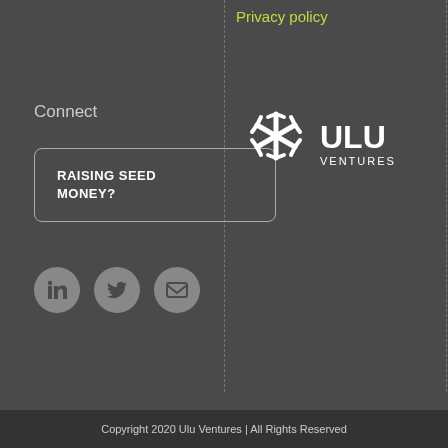Privacy policy
Connect
RAISING SEED MONEY?
[Figure (illustration): Three social media icon circles: LinkedIn (in), Twitter bird, and envelope/email icons in gray circles]
[Figure (logo): Ulu Ventures logo - white snowflake/asterisk symbol followed by ULU VENTURES text in white]
Copyright 2020 Ulu Ventures | All Rights Reserved